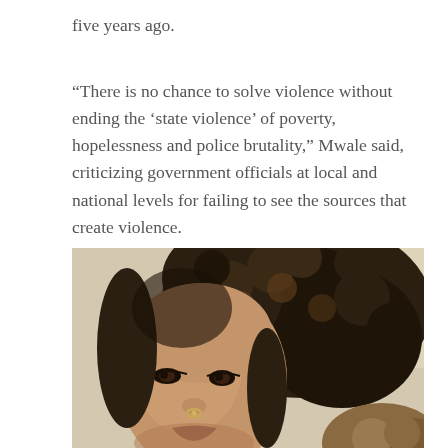five years ago.
“There is no chance to solve violence without ending the ‘state violence’ of poverty, hopelessness and police brutality,” Mwale said, criticizing government officials at local and national levels for failing to see the sources that create violence.
[Figure (photo): Close-up photo of a young woman with curly dark hair, wearing a nose ring, smiling slightly. Another person with lighter hair is partially visible at the bottom right.]